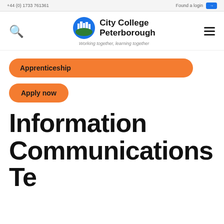City College Peterborough — Working together, learning together
Apprenticeship
Apply now
Information Communications Technician